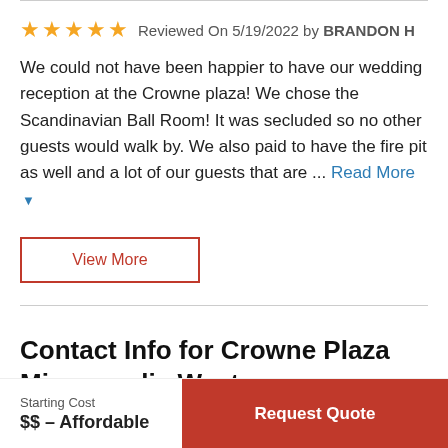Reviewed On 5/19/2022 by BRANDON H
We could not have been happier to have our wedding reception at the Crowne plaza! We chose the Scandinavian Ball Room! It was secluded so no other guests would walk by. We also paid to have the fire pit as well and a lot of our guests that are ... Read More
View More
Contact Info for Crowne Plaza Minneapolis West
Starting Cost
$$ – Affordable
Request Quote